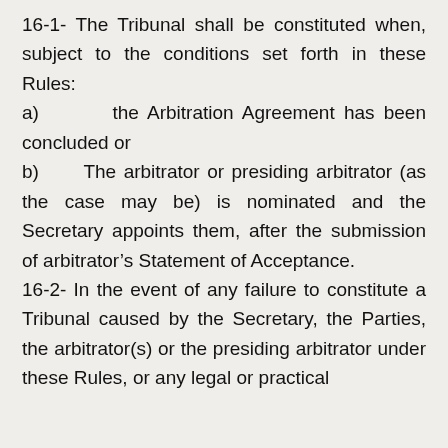16-1- The Tribunal shall be constituted when, subject to the conditions set forth in these Rules:
a)        the Arbitration Agreement has been concluded or
b)      The arbitrator or presiding arbitrator (as the case may be) is nominated and the Secretary appoints them, after the submission of arbitrator’s Statement of Acceptance.
16-2- In the event of any failure to constitute a Tribunal caused by the Secretary, the Parties, the arbitrator(s) or the presiding arbitrator under these Rules, or any legal or practical